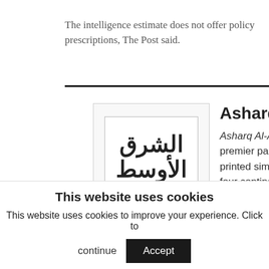The intelligence estimate does not offer policy prescriptions, The Post said.
[Figure (logo): Asharq Al-Awsat newspaper logo with Arabic text and subtitle in a bordered box]
Asharq Al-Awsat
Asharq Al-Awsat is the world's premier pan-Arab daily newspaper, printed simultaneously each day on four continents in 14 cities. Launched in London in 1978, Asharq Al-Awsat has established itself as
This website uses cookies
This website uses cookies to improve your experience. Click to continue  Accept